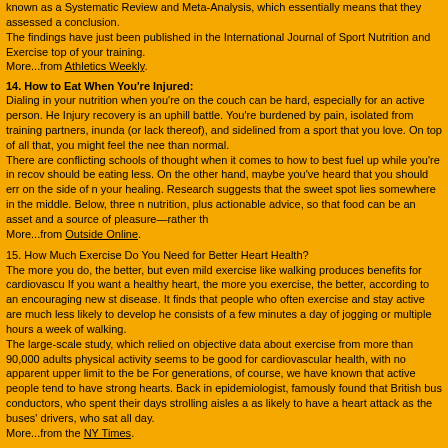known as a Systematic Review and Meta-Analysis, which essentially means that they assessed a conclusion.
The findings have just been published in the International Journal of Sport Nutrition and Exercise top of your training.
More...from Athletics Weekly.
14. How to Eat When You're Injured:
Dialing in your nutrition when you're on the couch can be hard, especially for an active person. He Injury recovery is an uphill battle. You're burdened by pain, isolated from training partners, inunda (or lack thereof), and sidelined from a sport that you love. On top of all that, you might feel the nee than normal.
There are conflicting schools of thought when it comes to how to best fuel up while you're in recov should be eating less. On the other hand, maybe you've heard that you should err on the side of n your healing. Research suggests that the sweet spot lies somewhere in the middle. Below, three n nutrition, plus actionable advice, so that food can be an asset and a source of pleasure—rather th
More...from Outside Online.
15. How Much Exercise Do You Need for Better Heart Health?
The more you do, the better, but even mild exercise like walking produces benefits for cardiovascu If you want a healthy heart, the more you exercise, the better, according to an encouraging new st disease. It finds that people who often exercise and stay active are much less likely to develop he consists of a few minutes a day of jogging or multiple hours a week of walking.
The large-scale study, which relied on objective data about exercise from more than 90,000 adults physical activity seems to be good for cardiovascular health, with no apparent upper limit to the be For generations, of course, we have known that active people tend to have strong hearts. Back in epidemiologist, famously found that British bus conductors, who spent their days strolling aisles a as likely to have a heart attack as the buses' drivers, who sat all day.
More...from the NY Times.
FEATURED EVENTS:
*Please verify event dates with the event websites available from our FrontPage.
Upcoming Races,  Marathons,  Races, and  Triathlons
February 19, 2021:
RAK Half-Marathon - Ras Al Khaimah, United Arab Emirate
Tel Aviv Samsung Marathon - Israel
February 20, 2021:
The Ten